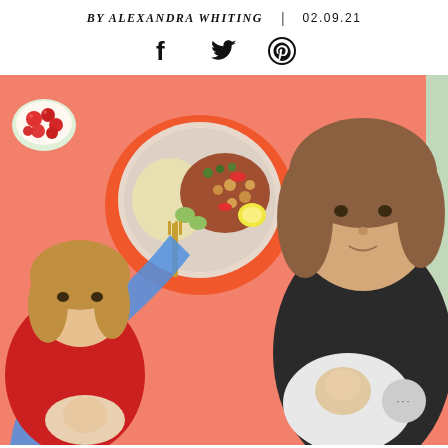BY ALEXANDRA WHITING | 02.09.21
[Figure (illustration): Social share icons: Facebook, Twitter, Pinterest]
[Figure (photo): Collage on salmon/coral pink background featuring: a bowl of cherry tomatoes top-left, a plate of grain bowl with lentils, chickpeas, vegetables and lemon slice with gold fork (center-top), a woman with brown hair holding a newborn baby (right), a woman in red sweatshirt lying down with newborn baby (bottom-left), and a woman in dark top holding newborn baby (center-bottom). A green accent strip is visible on the right edge. A light blue cutout shape is behind the bottom-left figure. A chat button (circle with three dots) is in the bottom-right corner.]